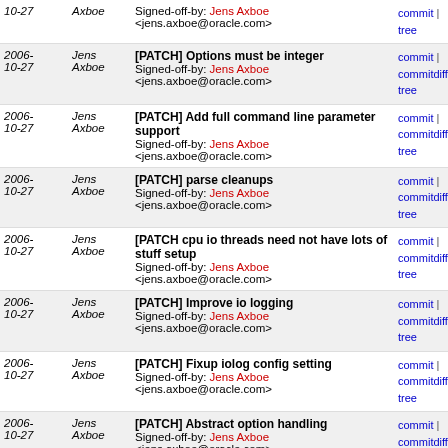| Date | Author | Message | Links |
| --- | --- | --- | --- |
| 2006-10-27 | Jens Axboe | [PATCH] Options must be integer
Signed-off-by: Jens Axboe <jens.axboe@oracle.com> | commit | commitdiff | tree |
| 2006-10-27 | Jens Axboe | [PATCH] Add full command line parameter support
Signed-off-by: Jens Axboe <jens.axboe@oracle.com> | commit | commitdiff | tree |
| 2006-10-27 | Jens Axboe | [PATCH] parse cleanups
Signed-off-by: Jens Axboe <jens.axboe@oracle.com> | commit | commitdiff | tree |
| 2006-10-27 | Jens Axboe | [PATCH cpu io threads need not have lots of stuff setup
Signed-off-by: Jens Axboe <jens.axboe@oracle.com> | commit | commitdiff | tree |
| 2006-10-27 | Jens Axboe | [PATCH] Improve io logging
Signed-off-by: Jens Axboe <jens.axboe@oracle.com> | commit | commitdiff | tree |
| 2006-10-27 | Jens Axboe | [PATCH] Fixup iolog config setting
Signed-off-by: Jens Axboe <jens.axboe@oracle.com> | commit | commitdiff | tree |
| 2006-10-27 | Jens Axboe | [PATCH] Abstract option handling
Signed-off-by: Jens Axboe <jens.axboe@oracle.com> | commit | commitdiff | tree |
| 2006-10-27 | Jens Axboe | [PATCH] libaio sign error
Signed-off-by: Jens Axboe <jens.axboe@oracle.com> | commit | commitdiff | tree |